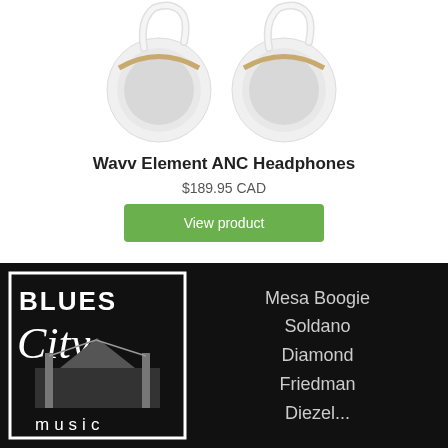[Figure (photo): Two white and gold Wavv Element ANC over-ear headphones shown from front, on white background]
Wavv Element ANC Headphones
$189.95 CAD
View product
[Figure (logo): Blues City Music logo on black background with Mesa Boogie, Soldano, Diamond, Friedman, Diezel... text]